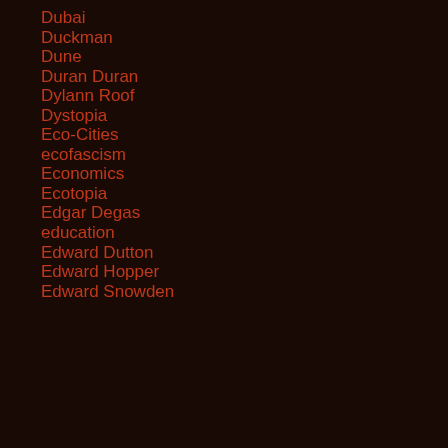Dubai
Duckman
Dune
Duran Duran
Dylann Roof
Dystopia
Eco-Cities
ecofascism
Economics
Ecotopia
Edgar Degas
education
Edward Dutton
Edward Hopper
Edward Snowden